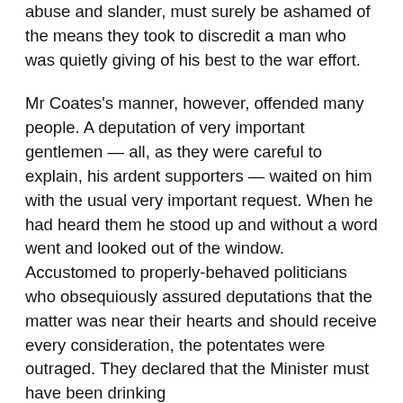abuse and slander, must surely be ashamed of the means they took to discredit a man who was quietly giving of his best to the war effort.
Mr Coates's manner, however, offended many people. A deputation of very important gentlemen — all, as they were careful to explain, his ardent supporters — waited on him with the usual very important request. When he had heard them he stood up and without a word went and looked out of the window. Accustomed to properly-behaved politicians who obsequiously assured deputations that the matter was near their hearts and should receive every consideration, the potentates were outraged. They declared that the Minister must have been drinking